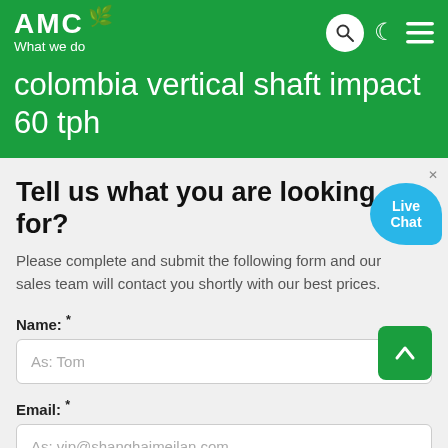AMC What we do
colombia vertical shaft impact 60 tph
Tell us what you are looking for?
Please complete and submit the following form and our sales team will contact you shortly with our best prices.
Name: *
Email: *
Phone: *